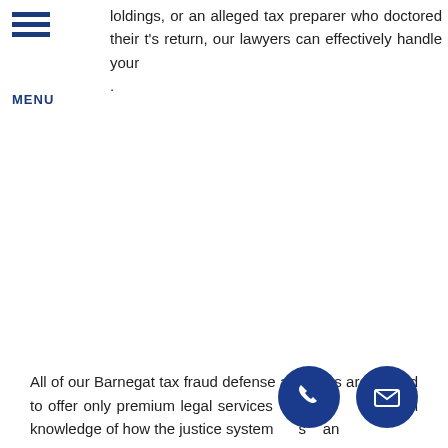MENU
loldings, or an alleged tax preparer who doctored their t's return, our lawyers can effectively handle your .
All of our Barnegat tax fraud defense attorneys are trained to offer only premium legal services h full knowledge of how the justice system s an